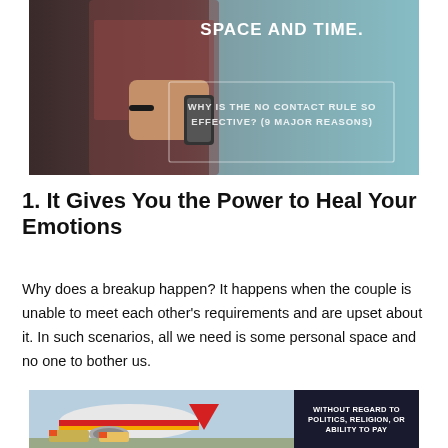[Figure (photo): Person holding a phone with overlay text: 'SPACE AND TIME.' and 'WHY IS THE NO CONTACT RULE SO EFFECTIVE? (9 MAJOR REASONS)' on a teal/dark background]
1. It Gives You the Power to Heal Your Emotions
Why does a breakup happen? It happens when the couple is unable to meet each other's requirements and are upset about it. In such scenarios, all we need is some personal space and no one to bother us.
[Figure (photo): Advertisement image showing an airplane being loaded with cargo (Southwest Airlines), alongside a dark banner reading 'WITHOUT REGARD TO POLITICS, RELIGION, OR ABILITY TO PAY']